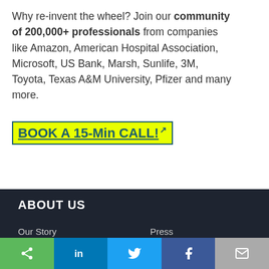Why re-invent the wheel? Join our community of 200,000+ professionals from companies like Amazon, American Hospital Association, Microsoft, US Bank, Marsh, Sunlife, 3M, Toyota, Texas A&M University, Pfizer and many more.
BOOK A 15-Min CALL!
ABOUT US
Our Story
Blog
Press
Contact
RESOURCES